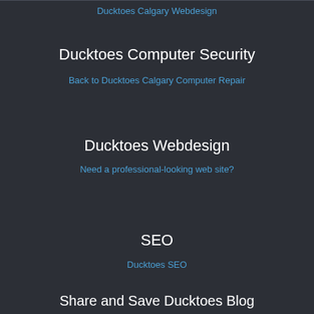Ducktoes Calgary Webdesign
Ducktoes Computer Security
Back to Ducktoes Calgary Computer Repair
Ducktoes Webdesign
Need a professional-looking web site?
SEO
Ducktoes SEO
Share and Save Ducktoes Blog